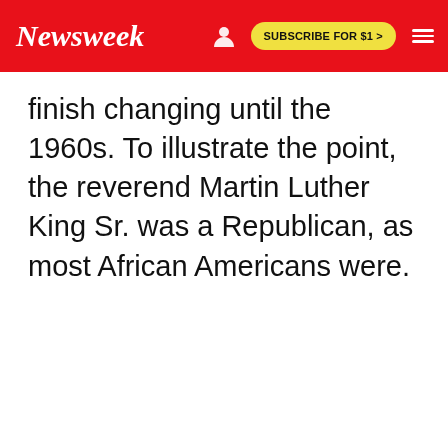Newsweek  SUBSCRIBE FOR $1 >
finish changing until the 1960s. To illustrate the point, the reverend Martin Luther King Sr. was a Republican, as most African Americans were.